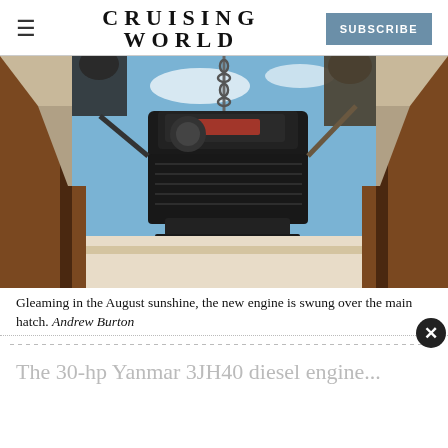CRUISING WORLD | SUBSCRIBE
[Figure (photo): A Yanmar diesel engine hanging from a chain hoist, being lowered through a boat's main hatch in bright August sunshine. Workers are visible on either side assisting with the installation. The view is from inside the boat looking up.]
Gleaming in the August sunshine, the new engine is swung over the main hatch. Andrew Burton
The 30-hp Yanmar 3JH40 diesel engine...